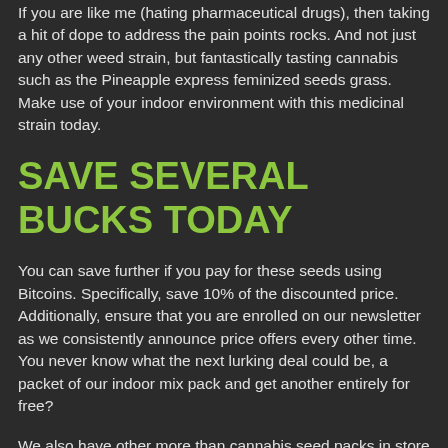If you are like me (hating pharmaceutical drugs), then taking a hit of dope to address the pain points rocks. And not just any other weed strain, but fantastically tasting cannabis such as the Pineapple express feminized seeds grass. Make use of your indoor environment with this medicinal strain today.
SAVE SEVERAL BUCKS TODAY
You can save further if you pay for these seeds using Bitcoins. Specifically, save 10% of the discounted price. Additionally, ensure that you are enrolled on our newsletter as we consistently announce price offers every other time. You never know what the next lurking deal could be, a packet of our indoor mix pack and get another entirely for free?
We also have other more than cannabis seed packs in store for you, and these, just like all the other seeds on our website have a 90% germination guarantee, guaranteed delivery, and free shipping worldwide.